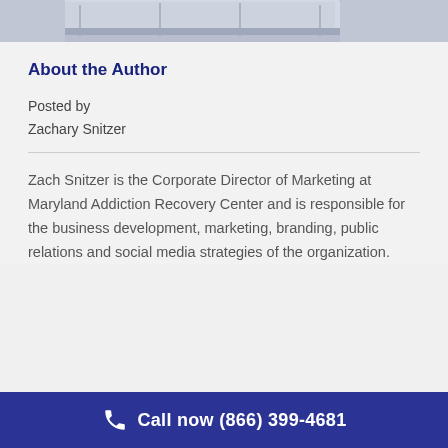[Figure (photo): Partial view of a room interior with what appears to be a table and chairs or similar furniture, blue and white tones.]
About the Author
Posted by
Zachary Snitzer
Zach Snitzer is the Corporate Director of Marketing at Maryland Addiction Recovery Center and is responsible for the business development, marketing, branding, public relations and social media strategies of the organization.
Call now (866) 399-4681